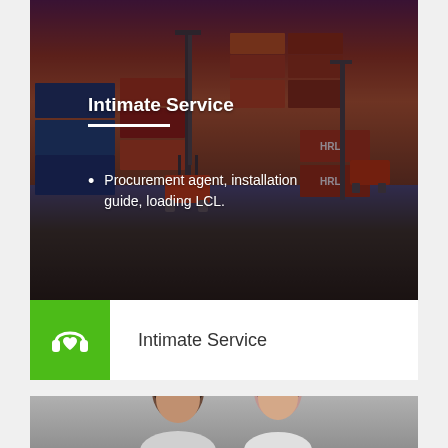[Figure (photo): Container yard/port with stacked shipping containers and forklift cranes under a dramatic orange-purple sky, with a dark semi-transparent overlay]
Intimate Service
Procurement agent, installation guide, loading LCL.
[Figure (illustration): Green square icon box containing a white headphone/headset icon with a heart symbol]
Intimate Service
[Figure (photo): Two people (a man and a woman) shown from the shoulders up, partially cropped, appearing to be customer service representatives]